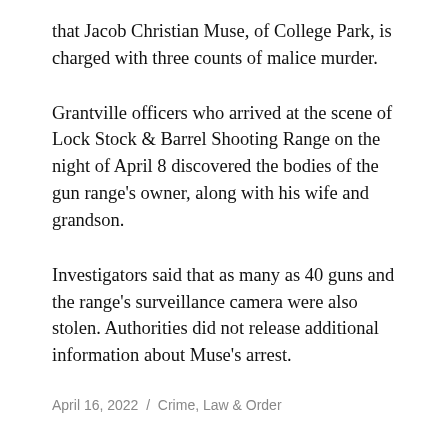that Jacob Christian Muse, of College Park, is charged with three counts of malice murder.
Grantville officers who arrived at the scene of Lock Stock & Barrel Shooting Range on the night of April 8 discovered the bodies of the gun range's owner, along with his wife and grandson.
Investigators said that as many as 40 guns and the range's surveillance camera were also stolen. Authorities did not release additional information about Muse's arrest.
April 16, 2022  /  Crime, Law & Order